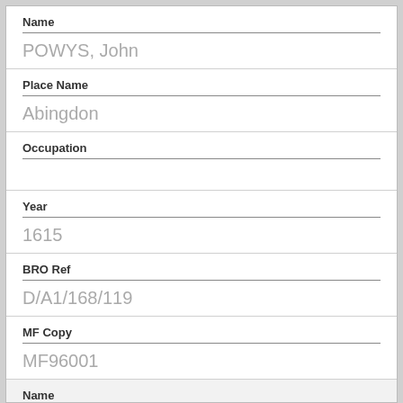| Field | Value |
| --- | --- |
| Name | POWYS, John |
| Place Name | Abingdon |
| Occupation |  |
| Year | 1615 |
| BRO Ref | D/A1/168/119 |
| MF Copy | MF96001 |
| Name |  |